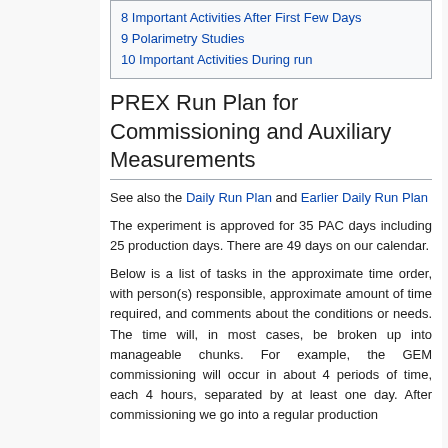8 Important Activities After First Few Days
9 Polarimetry Studies
10 Important Activities During run
PREX Run Plan for Commissioning and Auxiliary Measurements
See also the Daily Run Plan and Earlier Daily Run Plan
The experiment is approved for 35 PAC days including 25 production days. There are 49 days on our calendar.
Below is a list of tasks in the approximate time order, with person(s) responsible, approximate amount of time required, and comments about the conditions or needs. The time will, in most cases, be broken up into manageable chunks. For example, the GEM commissioning will occur in about 4 periods of time, each 4 hours, separated by at least one day. After commissioning we go into a regular production